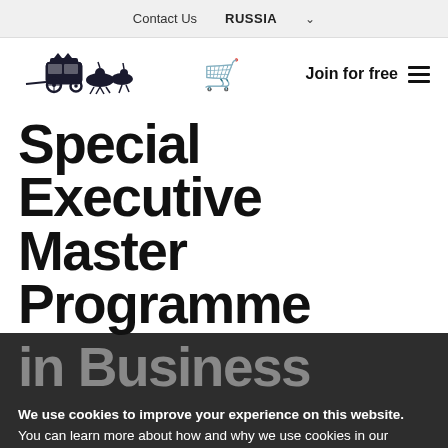Contact Us   RUSSIA ∨
[Figure (logo): Horse-drawn carriage logo illustration in dark ink]
Join for free ≡
Special Executive Master Programme in Business
We use cookies to improve your experience on this website. You can learn more about how and why we use cookies in our cookie policy. By using this website, you agree to the use of cookies.
Accept and Close ✕
Your browser settings do not allow cross-site tracking for advertising. Click on this page to allow AdRoll to use cross-site tracking to tailor ads to you. Learn more or opt out of this AdRoll tracking by clicking here. This message only appears once.